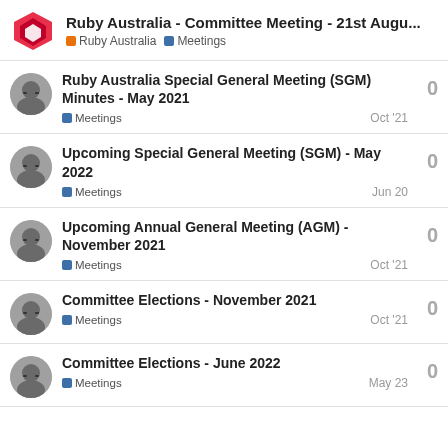Ruby Australia - Committee Meeting - 21st Augu... | Ruby Australia | Meetings
Ruby Australia Special General Meeting (SGM) Minutes - May 2021 | Meetings | Oct '21 | 0
Upcoming Special General Meeting (SGM) - May 2022 | Meetings | Jun 20 | 0
Upcoming Annual General Meeting (AGM) - November 2021 | Meetings | Oct '21 | 0
Committee Elections - November 2021 | Meetings | Oct '21 | 0
Committee Elections - June 2022 | Meetings | May 23 | 0